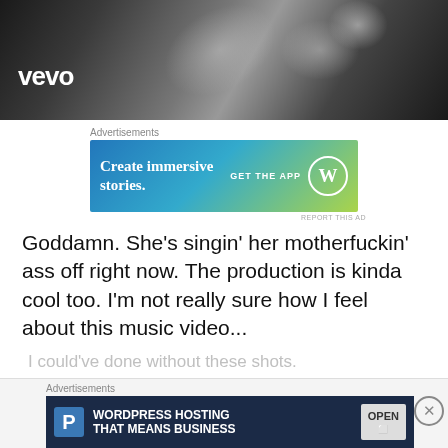[Figure (screenshot): Vevo music video thumbnail — dark metallic abstract background with VEVO logo in white, bottom-left]
Advertisements
[Figure (screenshot): Advertisement banner: blue-to-green gradient with text 'Create immersive stories.' and 'GET THE APP' with WordPress logo circle]
REPORT THIS AD
Goddamn. She's singin' her motherfuckin' ass off right now. The production is kinda cool too. I'm not really sure how I feel about this music video...
I could've done without these shots.
She did an amazing job singing this shit, but it's not really my cup of tea. I don't have a Spotify account, so I can't
Advertisements
[Figure (screenshot): Advertisement banner: dark navy background with WordPress 'P' logo and text 'WORDPRESS HOSTING THAT MEANS BUSINESS' with OPEN sign image]